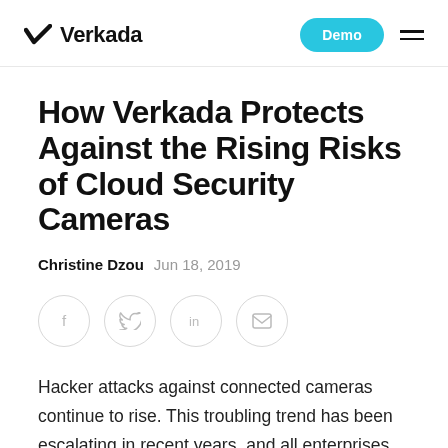Verkada | Demo
How Verkada Protects Against the Rising Risks of Cloud Security Cameras
Christine Dzou  Jun 18, 2019
[Figure (infographic): Social share icons: Facebook, Twitter, LinkedIn, Email — circular outlined buttons]
Hacker attacks against connected cameras continue to rise. This troubling trend has been escalating in recent years, and all enterprises should expect to